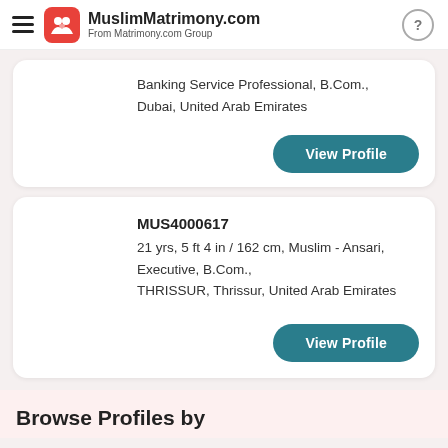MuslimMatrimony.com — From Matrimony.com Group
Banking Service Professional, B.Com., Dubai, United Arab Emirates
View Profile
MUS4000617
21 yrs, 5 ft 4 in / 162 cm, Muslim - Ansari, Executive, B.Com., THRISSUR, Thrissur, United Arab Emirates
View Profile
Browse Profiles by